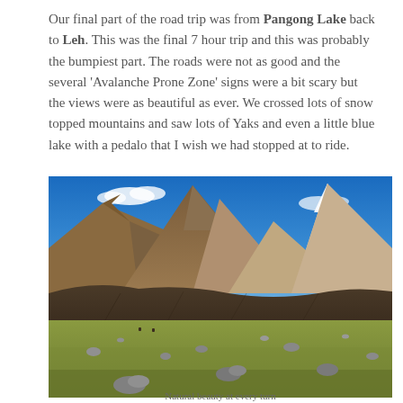Our final part of the road trip was from Pangong Lake back to Leh. This was the final 7 hour trip and this was probably the bumpiest part. The roads were not as good and the several 'Avalanche Prone Zone' signs were a bit scary but the views were as beautiful as ever. We crossed lots of snow topped mountains and saw lots of Yaks and even a little blue lake with a pedalo that I wish we had stopped at to ride.
[Figure (photo): Landscape photograph of a high-altitude mountain terrain. Foreground shows green-yellow scrubby grassland with scattered rocks and boulders. Middle ground shows an eroded dark hillside. Background features large brown/tan mountain peaks under a vivid blue sky with a few white clouds. Snow-capped peaks visible on the right side.]
Natural beauty at every turn